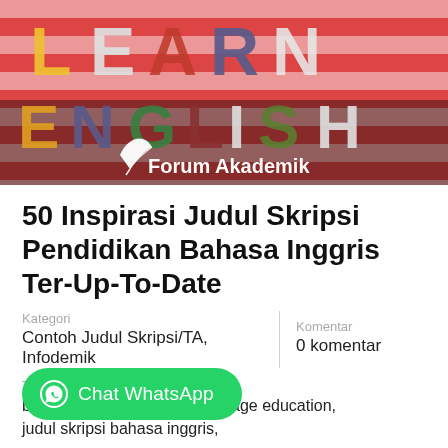[Figure (photo): Hero image showing colorful 3D letters spelling LEARN ENGLISH with a white feather quill icon and text 'Forum Akademik' overlaid in white]
50 Inspirasi Judul Skripsi Pendidikan Bahasa Inggris Ter-Up-To-Date
Kategori
Contoh Judul Skripsi/TA, Infodemik
Komentar
0 komentar
Tag
bahasa inggris, English language education, judul skripsi bahasa inggris, judul TA bahasa inggris, pendidikan bahasa inggris
Chat WhatsApp